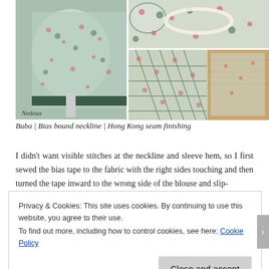[Figure (photo): Photo collage showing a floral patterned blouse on a dress form (left), and three detail shots of the neckline and Hong Kong seam finishing (right). Watermark 'Nedoux' visible on left photo.]
Buba | Bias bound neckline | Hong Kong seam finishing
I didn't want visible stitches at the neckline and sleeve hem, so I first sewed the bias tape to the fabric with the right sides touching and then turned the tape inward to the wrong side of the blouse and slip-
Privacy & Cookies: This site uses cookies. By continuing to use this website, you agree to their use.
To find out more, including how to control cookies, see here: Cookie Policy
Close and accept